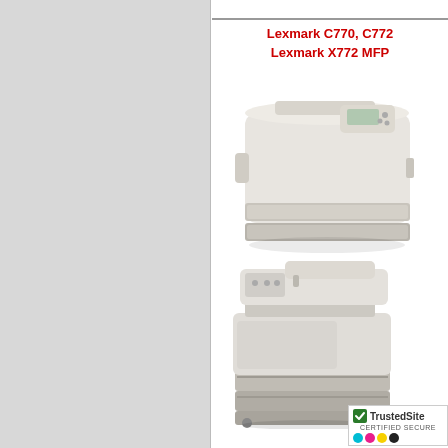Lexmark C770, C772 Lexmark X772 MFP
[Figure (photo): Lexmark C770/C772 color laser printer, white/grey body with control panel on top right, front-facing view with paper trays]
[Figure (photo): Lexmark X772 MFP multifunction printer, white/grey body, tall unit with automatic document feeder on top, multiple paper trays at base]
[Figure (logo): TrustedSite Certified Secure badge with green checkmark and CMYK color dots]